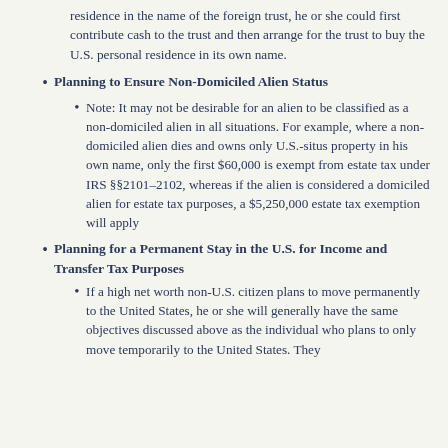residence in the name of the foreign trust, he or she could first contribute cash to the trust and then arrange for the trust to buy the U.S. personal residence in its own name.
Planning to Ensure Non-Domiciled Alien Status
Note: It may not be desirable for an alien to be classified as a non-domiciled alien in all situations. For example, where a non-domiciled alien dies and owns only U.S.-situs property in his own name, only the first $60,000 is exempt from estate tax under IRS §§2101–2102, whereas if the alien is considered a domiciled alien for estate tax purposes, a $5,250,000 estate tax exemption will apply
Planning for a Permanent Stay in the U.S. for Income and Transfer Tax Purposes
If a high net worth non-U.S. citizen plans to move permanently to the United States, he or she will generally have the same objectives discussed above as the individual who plans to only move temporarily to the United States. They